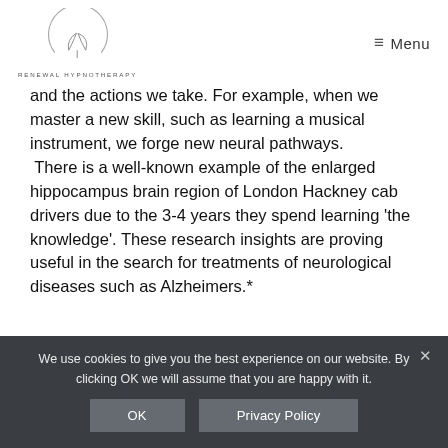RENEWAL HYPNOTHERAPY | Menu
and the actions we take. For example, when we master a new skill, such as learning a musical instrument, we forge new neural pathways. There is a well-known example of the enlarged hippocampus brain region of London Hackney cab drivers due to the 3-4 years they spend learning 'the knowledge'. These research insights are proving useful in the search for treatments of neurological diseases such as Alzheimers.*
We use cookies to give you the best experience on our website. By clicking OK we will assume that you are happy with it.
OK | Privacy Policy